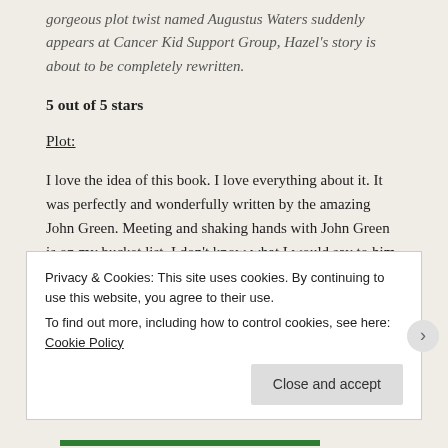gorgeous plot twist named Augustus Waters suddenly appears at Cancer Kid Support Group, Hazel's story is about to be completely rewritten.
5 out of 5 stars
Plot:
I love the idea of this book. I love everything about it. It was perfectly and wonderfully written by the amazing John Green. Meeting and shaking hands with John Green is on my bucket list. I don't know what I would say to him if I met
Privacy & Cookies: This site uses cookies. By continuing to use this website, you agree to their use.
To find out more, including how to control cookies, see here: Cookie Policy